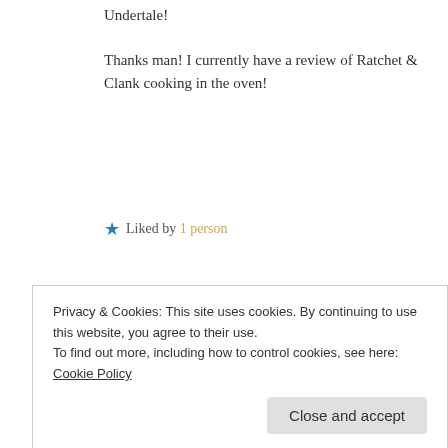Undertale!
Thanks man! I currently have a review of Ratchet & Clank cooking in the oven!
★ Liked by 1 person
REPLY
LEAVE A REPLY
Privacy & Cookies: This site uses cookies. By continuing to use this website, you agree to their use. To find out more, including how to control cookies, see here: Cookie Policy
Close and accept